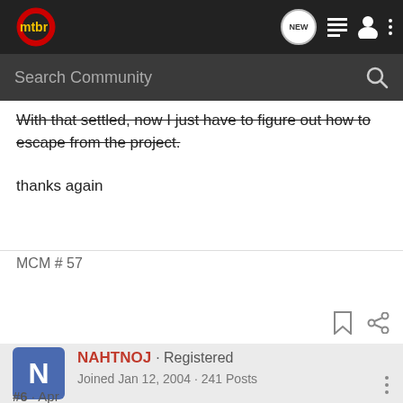mtbr navigation bar with search community
With that settled, now I just have to figure out how to escape from the project.
thanks again
MCM # 57
NAHTNOJ · Registered
Joined Jan 12, 2004 · 241 Posts
#6 · Apr